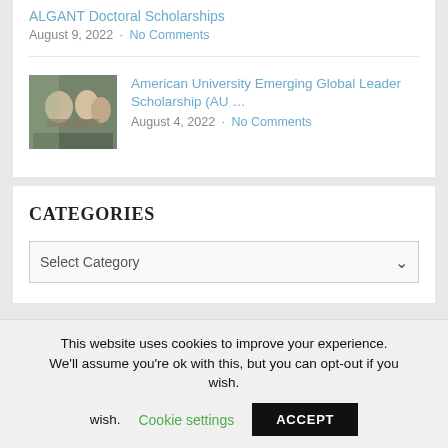ALGANT Doctoral Scholarships
August 9, 2022 · No Comments
[Figure (photo): Thumbnail photo of people at a meeting or conference table]
American University Emerging Global Leader Scholarship (AU …
August 4, 2022 · No Comments
CATEGORIES
Select Category
This website uses cookies to improve your experience. We'll assume you're ok with this, but you can opt-out if you wish.  Cookie settings  ACCEPT